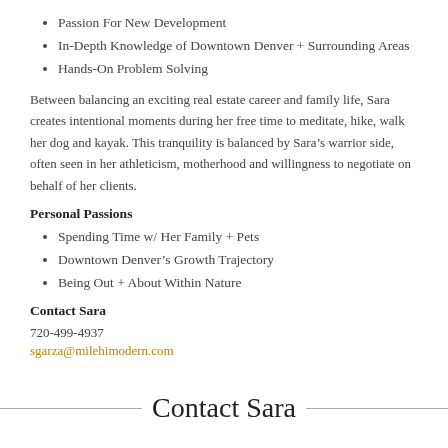Passion For New Development
In-Depth Knowledge of Downtown Denver + Surrounding Areas
Hands-On Problem Solving
Between balancing an exciting real estate career and family life, Sara creates intentional moments during her free time to meditate, hike, walk her dog and kayak. This tranquility is balanced by Sara’s warrior side, often seen in her athleticism, motherhood and willingness to negotiate on behalf of her clients.
Personal Passions
Spending Time w/ Her Family + Pets
Downtown Denver’s Growth Trajectory
Being Out + About Within Nature
Contact Sara
720-499-4937
sgarza@milehimodern.com
Contact Sara